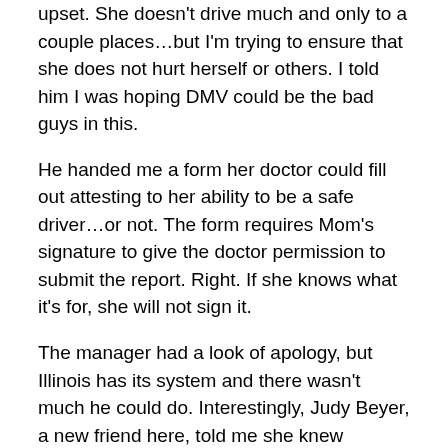upset.  She doesn't drive much and only to a couple places...but I'm trying to ensure that she does not hurt herself or others.  I told him I was hoping DMV could be the bad guys in this.
He handed me a form her doctor could fill out attesting to her ability to be a safe driver...or not.  The form requires Mom's signature to give the doctor permission to submit the report.  Right.  If she knows what it's for, she will not sign it.
The manager had a look of apology, but Illinois has its system and there wasn't  much he could do.  Interestingly, Judy Beyer, a new friend here, told me she knew someone whose elderly parent passed the test.  The examiner said, “He passed the test...but he really shouldn’t be driving.”
Later that day I sat Mom down and said I am no longer